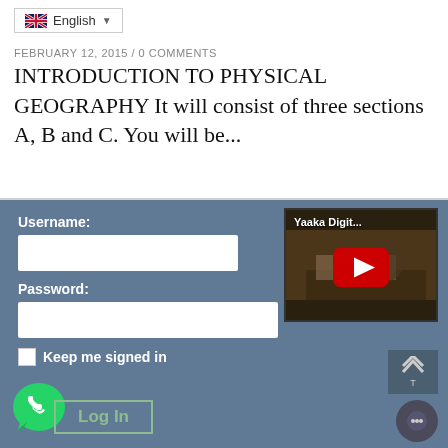[Figure (screenshot): Language selector dropdown showing English with UK flag]
FEBRUARY 12, 2015 / 0 COMMENTS
INTRODUCTION TO PHYSICAL GEOGRAPHY It will consist of three sections A, B and C. You will be...
Username:
Password:
Keep me signed in
[Figure (screenshot): YouTube video thumbnail showing 'Yaaka Digit...' with red play button over a photo of person at laptop]
[Figure (illustration): Green WhatsApp phone icon]
Log In
[Figure (illustration): Back to top arrow button]
[Figure (illustration): Chat circle icon]